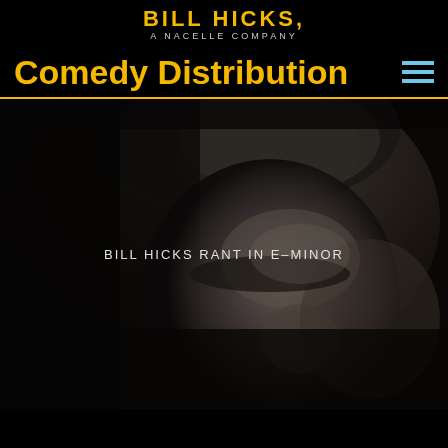BILL HICKS A NACELLE COMPANY
Comedy Distribution
[Figure (photo): Black and white close-up portrait of Bill Hicks with head bowed, dramatic low-key lighting, with overlaid text 'BILL HICKS RANT IN E-MINOR']